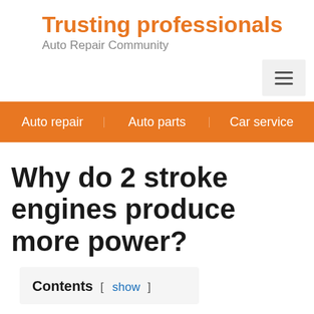Trusting professionals Auto Repair Community
Auto repair | Auto parts | Car service
Why do 2 stroke engines produce more power?
Contents [ show ]